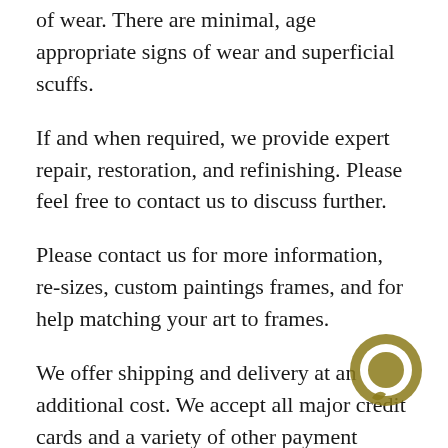of wear. There are minimal, age appropriate signs of wear and superficial scuffs.
If and when required, we provide expert repair, restoration, and refinishing. Please feel free to contact us to discuss further.
Please contact us for more information, re-sizes, custom paintings frames, and for help matching your art to frames.
We offer shipping and delivery at an additional cost. We accept all major credit cards and a variety of other payment methods including Bitcoin.
Susquehanna Antique Company guarantees 100% satisfaction. If you are unhappy with an item just return it to us and we will refund your purchase.
[Figure (illustration): Chat bubble icon in dark olive/gold color, positioned at bottom right of page]